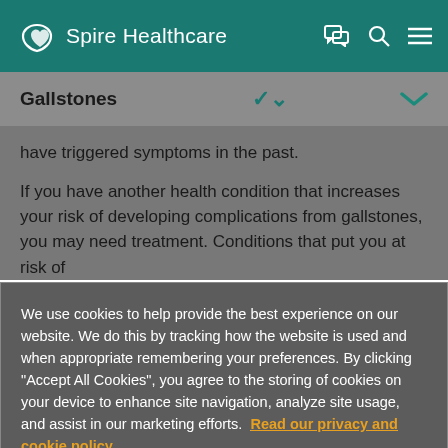Spire Healthcare
Gallstones
have triggered symptoms in the past.
If you have another health condition that increases your risk of developing complications from gallstones, you may need treatment. Conditions that put you at risk of
We use cookies to help provide the best experience on our website. We do this by tracking how the website is used and when appropriate remembering your preferences. By clicking "Accept All Cookies", you agree to the storing of cookies on your device to enhance site navigation, analyze site usage, and assist in our marketing efforts. Read our privacy and cookie policy
Cookies Settings
Accept All Cookies